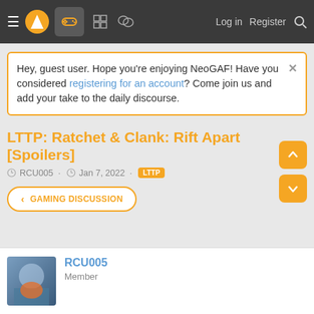NeoGAF navigation bar with hamburger menu, logo, controller icon, forum icons, Log in, Register, Search
Hey, guest user. Hope you're enjoying NeoGAF! Have you considered registering for an account? Come join us and add your take to the daily discourse.
LTTP: Ratchet & Clank: Rift Apart [Spoilers]
RCU005 · Jan 7, 2022 · LTTP
< GAMING DISCUSSION
RCU005
Member